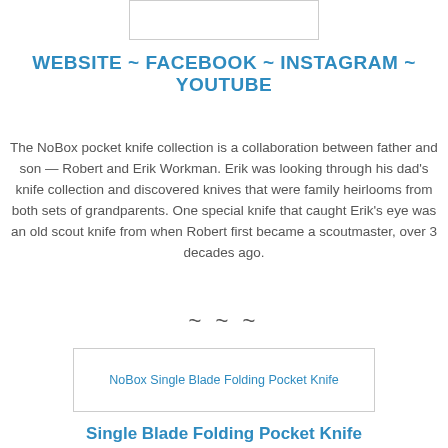[Figure (other): Small rectangular image placeholder at the top of the page]
WEBSITE ~ FACEBOOK ~ INSTAGRAM ~ YOUTUBE
The NoBox pocket knife collection is a collaboration between father and son — Robert and Erik Workman. Erik was looking through his dad's knife collection and discovered knives that were family heirlooms from both sets of grandparents. One special knife that caught Erik's eye was an old scout knife from when Robert first became a scoutmaster, over 3 decades ago.
~ ~ ~
[Figure (photo): NoBox Single Blade Folding Pocket Knife product image]
Single Blade Folding Pocket Knife